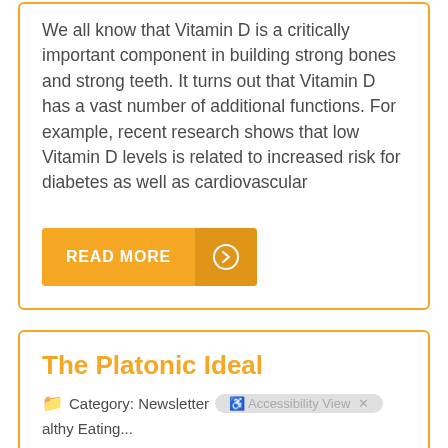We all know that Vitamin D is a critically important component in building strong bones and strong teeth. It turns out that Vitamin D has a vast number of additional functions. For example, recent research shows that low Vitamin D levels is related to increased risk for diabetes as well as cardiovascular
READ MORE
The Platonic Ideal
Category: Newsletter  Healthy Eating...